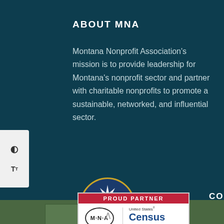ABOUT MNA
Montana Nonprofit Association’s mission is to provide leadership for Montana’s nonprofit sector and partner with charitable nonprofits to promote a sustainable, networked, and influential sector.
[Figure (logo): GuideStar Exchange Gold Participant badge — circular gold-rimmed emblem with star burst on dark blue background, gold banner reading GOLD PARTICIPANT]
CONTACT
[Figure (logo): Proud Partner badge: red header reading PROUD PARTNER, MNA (Montana Nonprofit Association) circle logo on left, United States Census 2020 logo on right]
[Figure (illustration): Up arrow/chevron in grey]
[Figure (photo): Partial green image box at bottom left of green footer section]